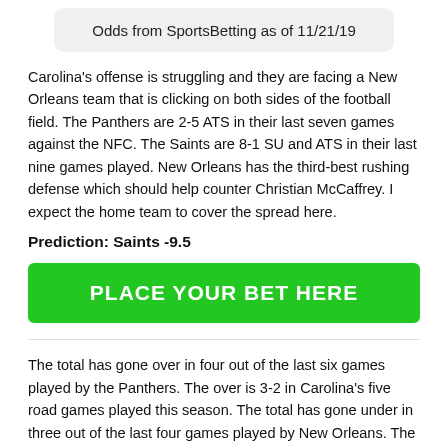Odds from SportsBetting as of 11/21/19
Carolina's offense is struggling and they are facing a New Orleans team that is clicking on both sides of the football field. The Panthers are 2-5 ATS in their last seven games against the NFC. The Saints are 8-1 SU and ATS in their last nine games played. New Orleans has the third-best rushing defense which should help counter Christian McCaffrey. I expect the home team to cover the spread here.
Prediction: Saints -9.5
PLACE YOUR BET HERE
The total has gone over in four out of the last six games played by the Panthers. The over is 3-2 in Carolina's five road games played this season. The total has gone under in three out of the last four games played by New Orleans. The Saints have seen the total go under in three out of their last five games played at home. The under is also 4-1 in their last five November games. Head to head,